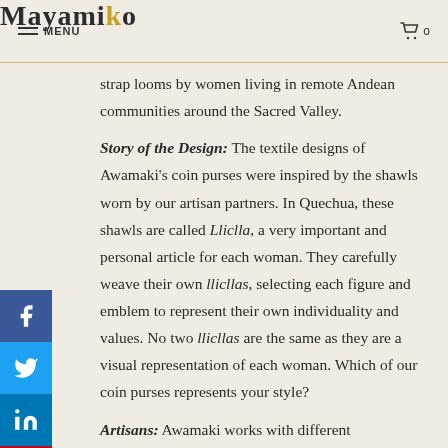MENU | Mayamiko | 0
strap looms by women living in remote Andean communities around the Sacred Valley.
Story of the Design: The textile designs of Awamaki's coin purses were inspired by the shawls worn by our artisan partners. In Quechua, these shawls are called Lliclla, a very important and personal article for each woman. They carefully weave their own llicllas, selecting each figure and emblem to represent their own individuality and values. No two llicllas are the same as they are a visual representation of each woman. Which of our coin purses represents your style?
Artisans: Awamaki works with different